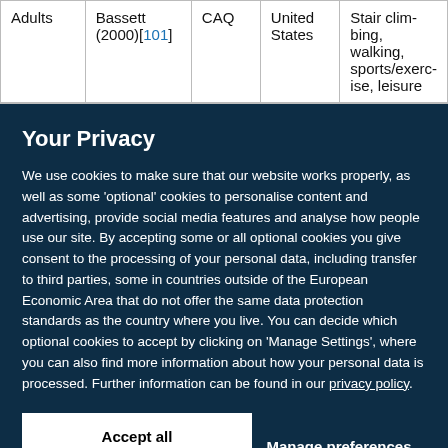| Adults | Bassett (2000)[101] | CAQ | United States | Stair climbing, walking, sports/exercise, leisure |
Your Privacy
We use cookies to make sure that our website works properly, as well as some 'optional' cookies to personalise content and advertising, provide social media features and analyse how people use our site. By accepting some or all optional cookies you give consent to the processing of your personal data, including transfer to third parties, some in countries outside of the European Economic Area that do not offer the same data protection standards as the country where you live. You can decide which optional cookies to accept by clicking on 'Manage Settings', where you can also find more information about how your personal data is processed. Further information can be found in our privacy policy.
Accept all cookies
Manage preferences